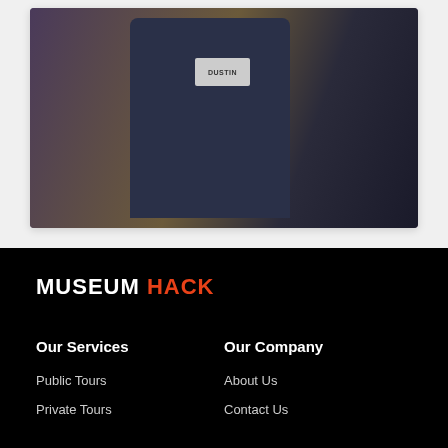[Figure (photo): Photo of people wearing name badges and patterned shirts, partially cropped at the top of the page inside a white card frame]
MUSEUM HACK
Our Services
Our Company
Public Tours
About Us
Private Tours
Contact Us